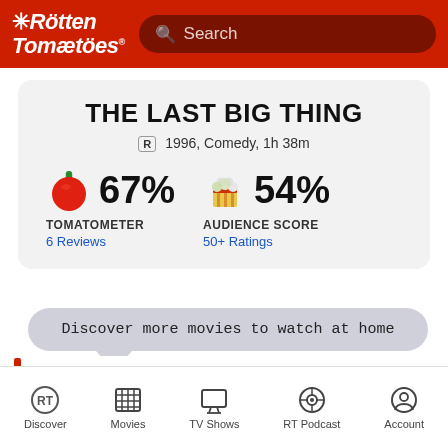Rotten Tomatoes — Search
THE LAST BIG THING
R 1996, Comedy, 1h 38m
67% TOMATOMETER 6 Reviews
54% AUDIENCE SCORE 50+ Ratings
Discover more movies to watch at home
Discover | Movies | TV Shows | RT Podcast | Account